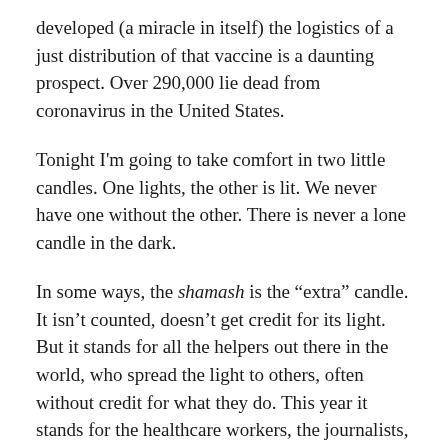developed (a miracle in itself) the logistics of a just distribution of that vaccine is a daunting prospect. Over 290,000 lie dead from coronavirus in the United States.
Tonight I'm going to take comfort in two little candles. One lights, the other is lit. We never have one without the other. There is never a lone candle in the dark.
In some ways, the shamash is the “extra” candle. It isn’t counted, doesn’t get credit for its light. But it stands for all the helpers out there in the world, who spread the light to others, often without credit for what they do. This year it stands for the healthcare workers, the journalists, the delivery people, the “essential workers” who do their work in danger and often for low pay.